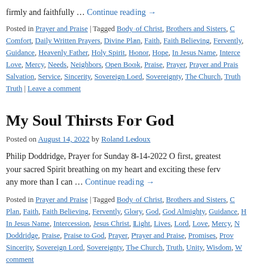firmly and faithfully … Continue reading →
Posted in Prayer and Praise | Tagged Body of Christ, Brothers and Sisters, C…Comfort, Daily Written Prayers, Divine Plan, Faith, Faith Believing, Fervently, Guidance, Heavenly Father, Holy Spirit, Honor, Hope, In Jesus Name, Interce…Love, Mercy, Needs, Neighbors, Open Book, Praise, Prayer, Prayer and Prais…Salvation, Service, Sincerity, Sovereign Lord, Sovereignty, The Church, Truth…Truth | Leave a comment
My Soul Thirsts For God
Posted on August 14, 2022 by Roland Ledoux
Philip Doddridge, Prayer for Sunday 8-14-2022 O first, greatest…your sacred Spirit breathing on my heart and exciting these ferv…any more than I can … Continue reading →
Posted in Prayer and Praise | Tagged Body of Christ, Brothers and Sisters, C…Plan, Faith, Faith Believing, Fervently, Glory, God, God Almighty, Guidance, H…In Jesus Name, Intercession, Jesus Christ, Light, Lives, Lord, Love, Mercy, N…Doddridge, Praise, Praise to God, Prayer, Prayer and Praise, Promises, Prov…Sincerity, Sovereign Lord, Sovereignty, The Church, Truth, Unity, Wisdom, W…comment